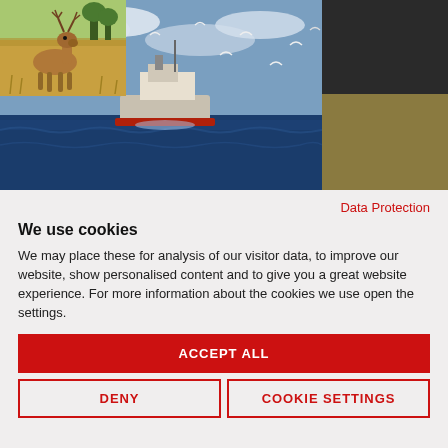[Figure (photo): Fishing boat on the ocean with seagulls flying around]
[Figure (photo): Close-up of a penguin face (black and white)]
[Figure (photo): A deer standing in dry grassland]
Data Protection
We use cookies
We may place these for analysis of our visitor data, to improve our website, show personalised content and to give you a great website experience. For more information about the cookies we use open the settings.
ACCEPT ALL
DENY
COOKIE SETTINGS